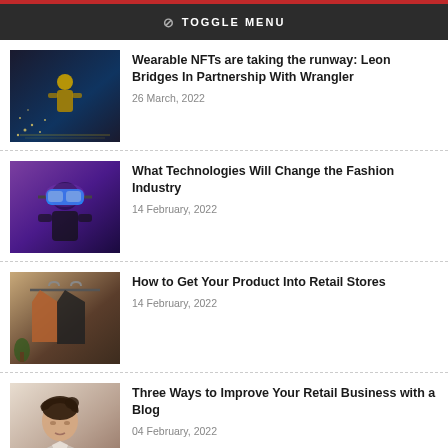⊘ TOGGLE MENU
Wearable NFTs are taking the runway: Leon Bridges In Partnership With Wrangler
26 March, 2022
What Technologies Will Change the Fashion Industry
14 February, 2022
How to Get Your Product Into Retail Stores
14 February, 2022
Three Ways to Improve Your Retail Business with a Blog
04 February, 2022